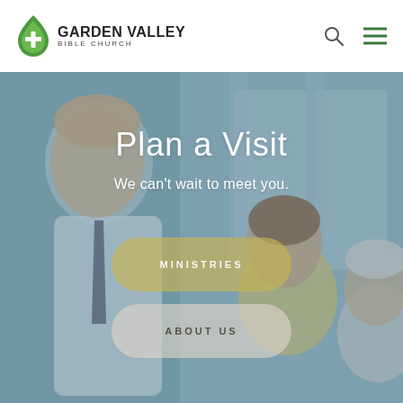[Figure (logo): Garden Valley Bible Church logo: green leaf/droplet shape with white cross, next to bold text GARDEN VALLEY BIBLE CHURCH]
[Figure (photo): Website screenshot header with search icon and hamburger menu icon on white background]
Plan a Visit
We can't wait to meet you.
MINISTRIES
ABOUT US